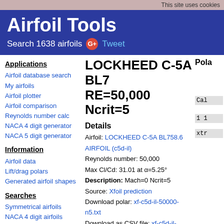This site uses cookies
Airfoil Tools
Search 1638 airfoils
Applications
Airfoil database search
My airfoils
Airfoil plotter
Airfoil comparison
Reynolds number calc
NACA 4 digit generator
NACA 5 digit generator
Information
Airfoil data
Lift/drag polars
Generated airfoil shapes
Searches
Symmetrical airfoils
NACA 4 digit airfoils
NACA 5 digit airfoils
NACA 6 series airfoils
Airfoils A to Z
A  a18 to avistar (88)
B  b29root to bw3 (22)
LOCKHEED C-5A BL7... RE=50,000 Ncrit=5
Details
Airfoil: LOCKHEED C-5A BL758.6 AIRFOIL (c5d-il)
Reynolds number: 50,000
Max Cl/Cd: 31.01 at α=5.25°
Description: Mach=0 Ncrit=5
Source: Xfoil prediction
Download polar: xf-c5d-il-50000-n5.txt
Download as CSV file: xf-c5d-il-50000-n5.csv
Pola
Cal
1 1
xtr